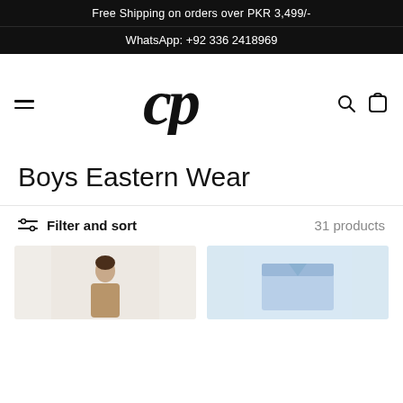Free Shipping on orders over PKR 3,499/-
WhatsApp: +92 336 2418969
[Figure (logo): CP cursive script logo in black]
Boys Eastern Wear
Filter and sort   31 products
[Figure (photo): Two product images partially visible at bottom: a child in eastern wear on the left, and a folded blue shirt on the right]